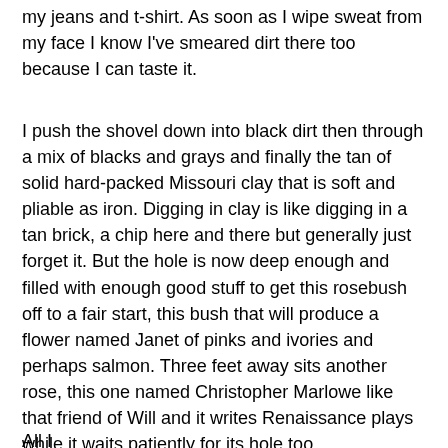my jeans and t-shirt. As soon as I wipe sweat from my face I know I've smeared dirt there too because I can taste it.
I push the shovel down into black dirt then through a mix of blacks and grays and finally the tan of solid hard-packed Missouri clay that is soft and pliable as iron. Digging in clay is like digging in a tan brick, a chip here and there but generally just forget it. But the hole is now deep enough and filled with enough good stuff to get this rosebush off to a fair start, this bush that will produce a flower named Janet of pinks and ivories and perhaps salmon. Three feet away sits another rose, this one named Christopher Marlowe like that friend of Will and it writes Renaissance plays while it waits patiently for its hole too.
All I